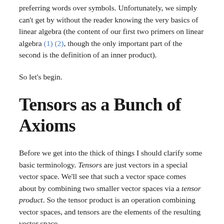preferring words over symbols. Unfortunately, we simply can't get by without the reader knowing the very basics of linear algebra (the content of our first two primers on linear algebra (1) (2), though the only important part of the second is the definition of an inner product).
So let's begin.
Tensors as a Bunch of Axioms
Before we get into the thick of things I should clarify some basic terminology. Tensors are just vectors in a special vector space. We'll see that such a vector space comes about by combining two smaller vector spaces via a tensor product. So the tensor product is an operation combining vector spaces, and tensors are the elements of the resulting vector space.
Now the use of the word product is quite suggestive, and it may lead one to think that a tensor product is similar or related to the usual direct product of vector spaces. In fact they are related (in very precise sense), but they are far from similar. If you were pressed, however you could start with the